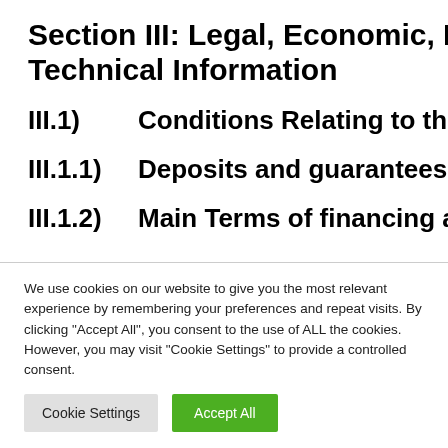Section III: Legal, Economic, Financial and Technical Information
III.1)   Conditions Relating to th…
III.1.1)   Deposits and guarantees req…
III.1.2)   Main Terms of financing an…
We use cookies on our website to give you the most relevant experience by remembering your preferences and repeat visits. By clicking "Accept All", you consent to the use of ALL the cookies. However, you may visit "Cookie Settings" to provide a controlled consent.